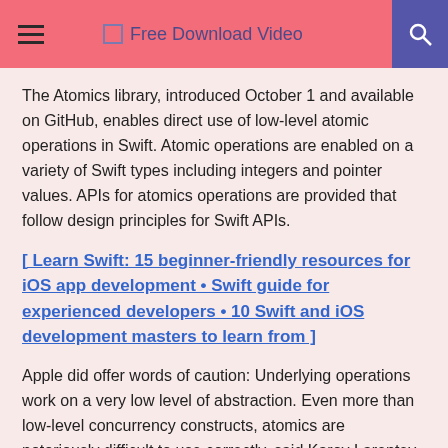Free Download Video
The Atomics library, introduced October 1 and available on GitHub, enables direct use of low-level atomic operations in Swift. Atomic operations are enabled on a variety of Swift types including integers and pointer values. APIs for atomics operations are provided that follow design principles for Swift APIs.
[ Learn Swift: 15 beginner-friendly resources for iOS app development • Swift guide for experienced developers • 10 Swift and iOS development masters to learn from ]
Apple did offer words of caution: Underlying operations work on a very low level of abstraction. Even more than low-level concurrency constructs, atomics are notoriously difficult to use correctly, said Karoy Lorentey, an Apple